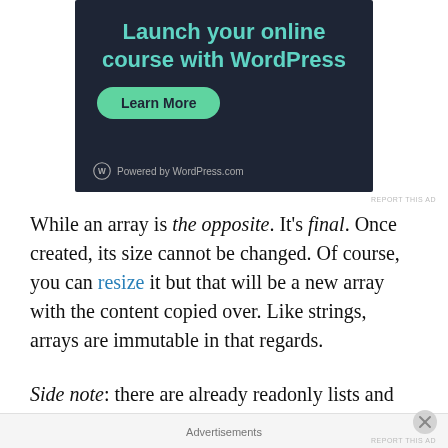[Figure (screenshot): WordPress.com advertisement banner with dark navy background. Text reads 'Launch your online course with WordPress' in teal/cyan color. A green 'Learn More' button is shown. Bottom shows WordPress logo and 'Powered by WordPress.com' text.]
REPORT THIS AD
While an array is the opposite. It's final. Once created, its size cannot be changed. Of course, you can resize it but that will be a new array with the content copied over. Like strings, arrays are immutable in that regards.
Side note: there are already readonly lists and collections,
Advertisements
REPORT THIS AD